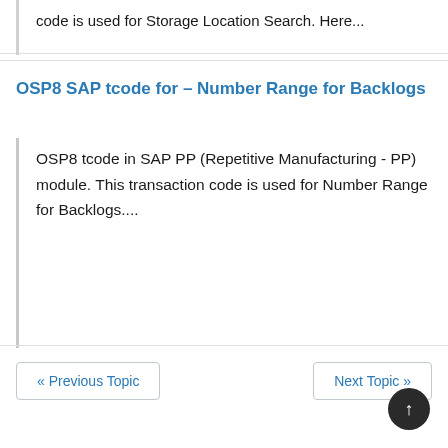code is used for Storage Location Search. Here...
OSP8 SAP tcode for – Number Range for Backlogs
OSP8 tcode in SAP PP (Repetitive Manufacturing - PP) module. This transaction code is used for Number Range for Backlogs....
« Previous Topic
Next Topic »